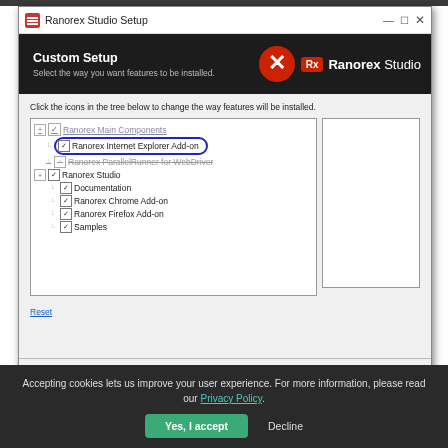[Figure (screenshot): Ranorex Studio Setup dialog showing Custom Setup screen with feature tree. Items include Ranorex Main Components, Ranorex Internet Explorer Add-on (circled in blue), Ranorex ParallelRunner for WebDriver (struck through), Ranorex Studio, Documentation, Ranorex Chrome Add-on, Ranorex Firefox Add-on, Samples. Buttons: Back, Next (highlighted), Cancel. Reset link shown.]
Accepting cookies lets us improve your user experience. For more information, please read our Privacy Policy.
Yes, I accept
Decline